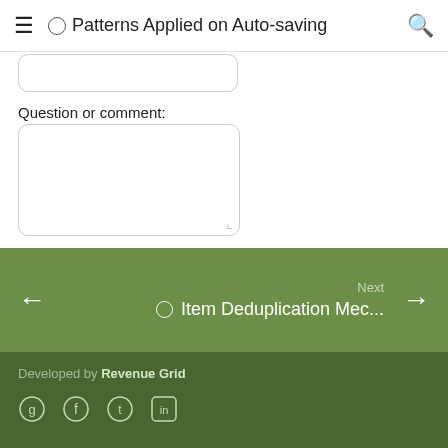≡  ○ Patterns Applied on Auto-saving  🔍
[Figure (screenshot): Partially visible text input field (cut off at top)]
Question or comment:
[Figure (screenshot): Large textarea input box for question or comment]
[Figure (screenshot): Two buttons: Send and Reset]
Next  ← ○ Item Deduplication Mec... →
Developed by Revenue Grid